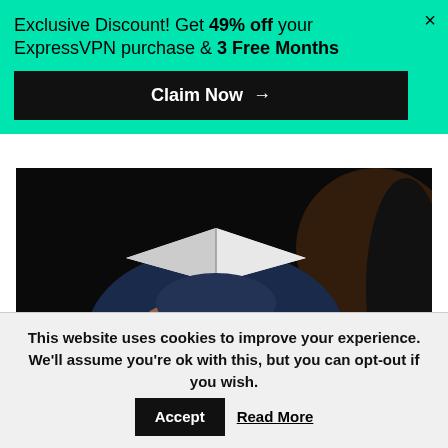Exclusive Discount! Get 49% off your ExpressVPN purchase & 3 Free Months
Claim Now →
[Figure (photo): Dark photo of a person sitting, holding an open book/notebook, wearing jeans, with warm lighting in the background]
There are quite a number of free VPNs for schools. However, they have different capabilities and
This website uses cookies to improve your experience. We'll assume you're ok with this, but you can opt-out if you wish.